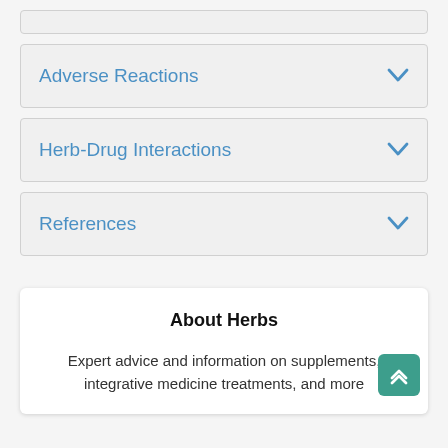Adverse Reactions
Herb-Drug Interactions
References
About Herbs
Expert advice and information on supplements, integrative medicine treatments, and more